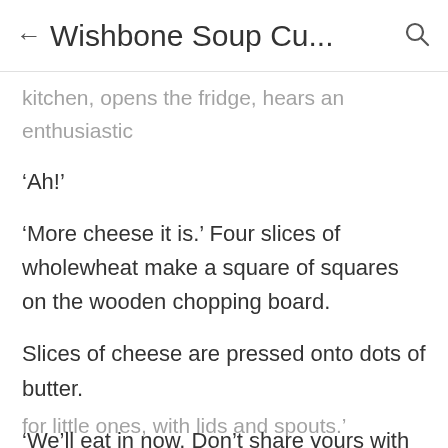Wishbone Soup Cu...
kitchen, opens the fridge, hears an enthusiastic
‘Ah!’
‘More cheese it is.’ Four slices of wholewheat make a square of squares on the wooden chopping board.
Slices of cheese are pressed onto dots of butter.
‘We’ll eat in now. Don’t share yours with the cat this time, or the floor. I’ll put some water in a cup. Can you use a cup? I have seen things like cups, I think, for little ones, with lids and spouts.’